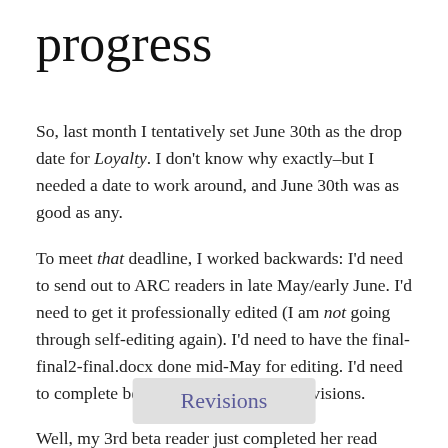progress
So, last month I tentatively set June 30th as the drop date for Loyalty. I don't know why exactly–but I needed a date to work around, and June 30th was as good as any.
To meet that deadline, I worked backwards: I'd need to send out to ARC readers in late May/early June. I'd need to get it professionally edited (I am not going through self-editing again). I'd need to have the final-final2-final.docx done mid-May for editing. I'd need to complete beta reads early May for revisions.
Well, my 3rd beta reader just completed her read through!
Revisions